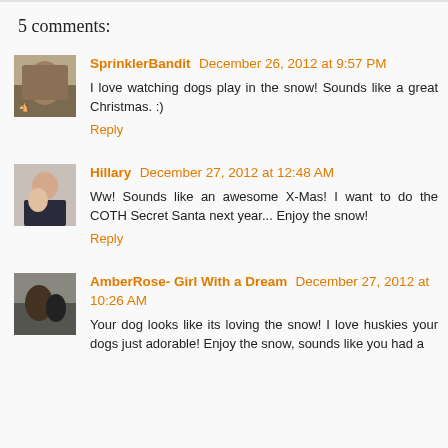5 comments:
SprinklerBandit December 26, 2012 at 9:57 PM
I love watching dogs play in the snow! Sounds like a great Christmas. :)
Reply
Hillary December 27, 2012 at 12:48 AM
Ww! Sounds like an awesome X-Mas! I want to do the COTH Secret Santa next year... Enjoy the snow!
Reply
AmberRose- Girl With a Dream December 27, 2012 at 10:26 AM
Your dog looks like its loving the snow! I love huskies your dogs just adorable! Enjoy the snow, sounds like you had a